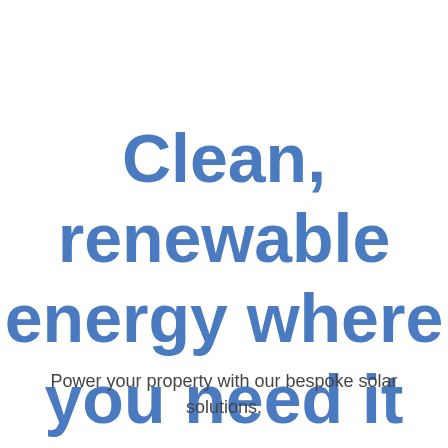Clean, renewable energy where you need it
Power your property with our bespoke solar solutions.